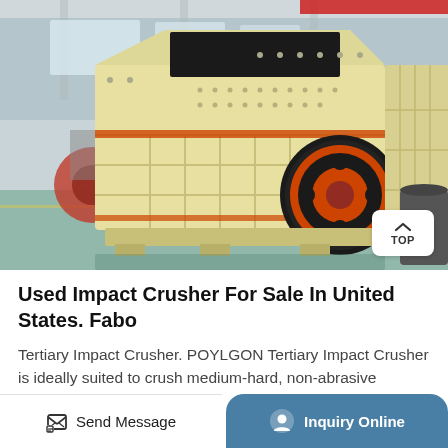[Figure (photo): Large yellow industrial impact crusher machine on a factory floor in China. The machine features a large flywheel with orange/red highlights, modular body construction, and is photographed inside a heavy industrial warehouse with overhead cranes visible. Other machinery visible in background.]
Used Impact Crusher For Sale In United States. Fabo
Tertiary Impact Crusher. POYLGON Tertiary Impact Crusher is ideally suited to crush medium-hard, non-abrasive materials down to
Send Message
Inquiry Online